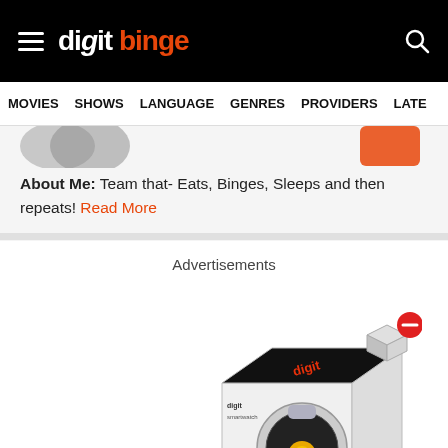digit binge — MOVIES  SHOWS  LANGUAGE  GENRES  PROVIDERS  LATE
About Me: Team that- Eats, Binges, Sleeps and then repeats! Read More
Advertisements
[Figure (photo): Product box containing a smartwatch/gadget with a red minus/close button overlay in top-right corner]